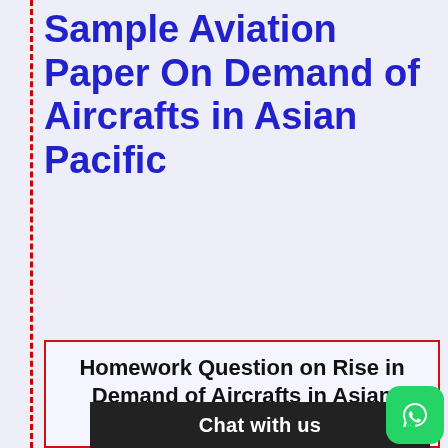Sample Aviation Paper On Demand of Aircrafts in Asian Pacific
Homework Question on Rise in Demand of Aircrafts in Asian Pacific
http://www.airbus.com/press-release-detail/detail/asia-pacific-needs-11000-a…-20-
[Figure (other): Chat with us dark overlay bar at the bottom of the page]
[Figure (logo): WhatsApp green circular logo button in the bottom right corner]